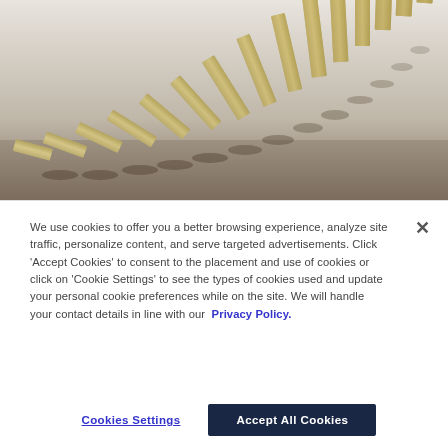[Figure (photo): Photograph of a row of wooden domino pieces arranged in a curved line, seen from a low angle on a reflective surface. The dominoes are in the process of falling.]
We use cookies to offer you a better browsing experience, analyze site traffic, personalize content, and serve targeted advertisements. Click 'Accept Cookies' to consent to the placement and use of cookies or click on 'Cookie Settings' to see the types of cookies used and update your personal cookie preferences while on the site. We will handle your contact details in line with our  Privacy Policy.
Cookies Settings
Accept All Cookies